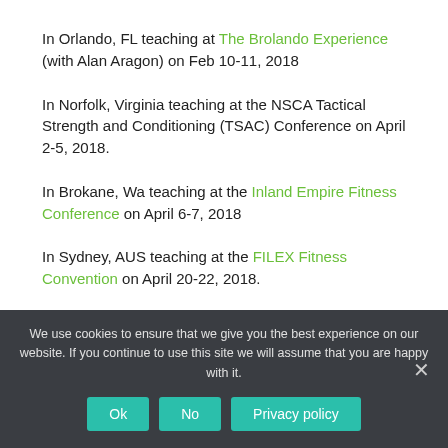In Orlando, FL teaching at The Brolando Experience (with Alan Aragon) on Feb 10-11, 2018
In Norfolk, Virginia teaching at the NSCA Tactical Strength and Conditioning (TSAC) Conference on April 2-5, 2018.
In Brokane, Wa teaching at the Inland Empire Fitness Conference on April 6-7, 2018
In Sydney, AUS teaching at the FILEX Fitness Convention on April 20-22, 2018.
We use cookies to ensure that we give you the best experience on our website. If you continue to use this site we will assume that you are happy with it.